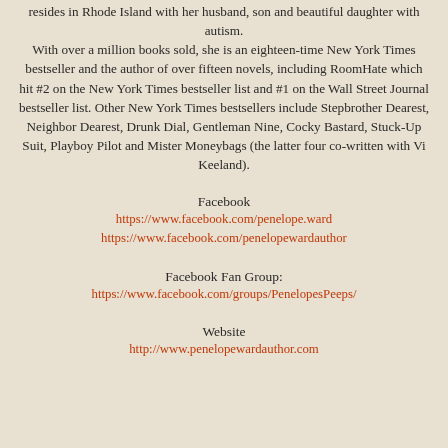resides in Rhode Island with her husband, son and beautiful daughter with autism. With over a million books sold, she is an eighteen-time New York Times bestseller and the author of over fifteen novels, including RoomHate which hit #2 on the New York Times bestseller list and #1 on the Wall Street Journal bestseller list. Other New York Times bestsellers include Stepbrother Dearest, Neighbor Dearest, Drunk Dial, Gentleman Nine, Cocky Bastard, Stuck-Up Suit, Playboy Pilot and Mister Moneybags (the latter four co-written with Vi Keeland).
Facebook
https://www.facebook.com/penelope.ward
https://www.facebook.com/penelopewardauthor
Facebook Fan Group:
https://www.facebook.com/groups/PenelopesPeeps/
Website
http://www.penelopewardauthor.com